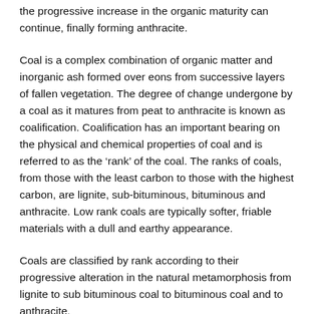the progressive increase in the organic maturity can continue, finally forming anthracite.
Coal is a complex combination of organic matter and inorganic ash formed over eons from successive layers of fallen vegetation. The degree of change undergone by a coal as it matures from peat to anthracite is known as coalification. Coalification has an important bearing on the physical and chemical properties of coal and is referred to as the ‘rank’ of the coal. The ranks of coals, from those with the least carbon to those with the highest carbon, are lignite, sub-bituminous, bituminous and anthracite. Low rank coals are typically softer, friable materials with a dull and earthy appearance.
Coals are classified by rank according to their progressive alteration in the natural metamorphosis from lignite to sub bituminous coal to bituminous coal and to anthracite.